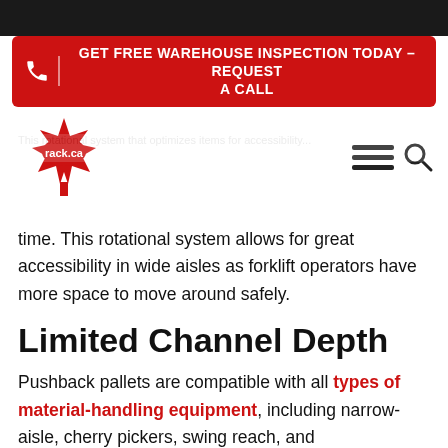[Figure (logo): Red call-to-action banner: GET FREE WAREHOUSE INSPECTION TODAY - REQUEST A CALL with phone icon]
[Figure (logo): rack.ca logo with Canadian maple leaf in red]
time. This rotational system allows for great accessibility in wide aisles as forklift operators have more space to move around safely.
Limited Channel Depth
Pushback pallets are compatible with all types of material-handling equipment, including narrow-aisle, cherry pickers, swing reach, and counterbalance forklifts. Multiple pallets containing the same SKUs can be stored on pushback racking systems. Depending on the weight, quantity requirements, and space availability of the storage fac...